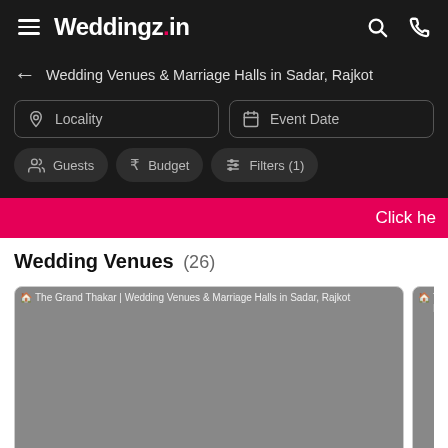Weddingz.in
Wedding Venues & Marriage Halls in Sadar, Rajkot
Locality
Event Date
Guests
Budget
Filters (1)
Click he
Wedding Venues (26)
[Figure (screenshot): Venue card for The Grand Thakar | Wedding Venues & Marriage Halls in Sadar, Rajkot — image placeholder (grey)]
[Figure (screenshot): Venue card for The Grand T... Marriage Halls... — partial image placeholder (grey)]